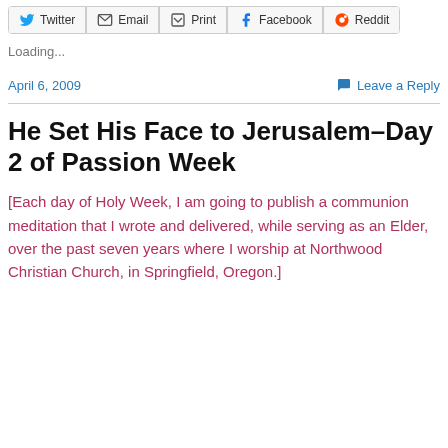[Figure (other): Social share buttons bar: Twitter, Email, Print, Facebook, Reddit]
Loading...
April 6, 2009    Leave a Reply
He Set His Face to Jerusalem–Day 2 of Passion Week
[Each day of Holy Week, I am going to publish a communion meditation that I wrote and delivered, while serving as an Elder, over the past seven years where I worship at Northwood Christian Church, in Springfield, Oregon.]